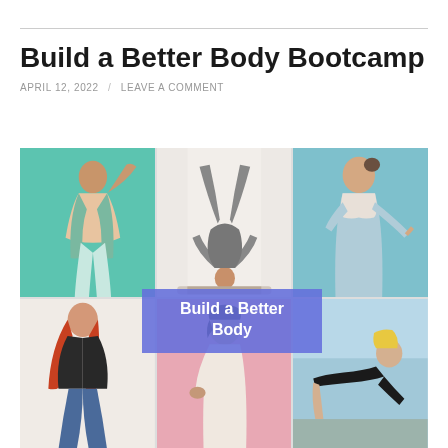Build a Better Body Bootcamp
APRIL 12, 2022 / LEAVE A COMMENT
[Figure (photo): A collage of six fitness and wellness photos showing women in various poses and activities, with a purple overlay banner reading 'Build a Better Body' in the center]